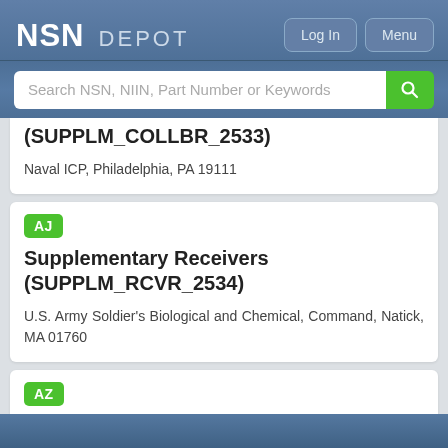NSN DEPOT
Search NSN, NIIN, Part Number or Keywords
(SUPPLM_COLLBR_2533)

Naval ICP, Philadelphia, PA 19111
AJ
Supplementary Receivers (SUPPLM_RCVR_2534)

U.S. Army Soldier's Biological and Chemical, Command, Natick, MA 01760
AZ